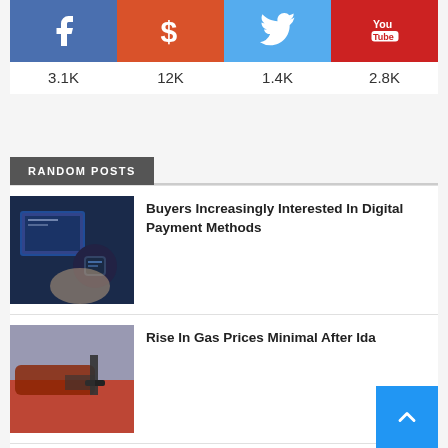[Figure (infographic): Social share counts: Facebook 3.1K, Dollar/Share 12K, Twitter 1.4K, YouTube 2.8K]
RANDOM POSTS
[Figure (photo): Person using smartwatch for digital payment]
Buyers Increasingly Interested In Digital Payment Methods
[Figure (photo): Red car being refueled at gas station]
Rise In Gas Prices Minimal After Ida
[Figure (photo): Night scene of gas station or commercial building]
Inflation Soars Nearly 8% In February